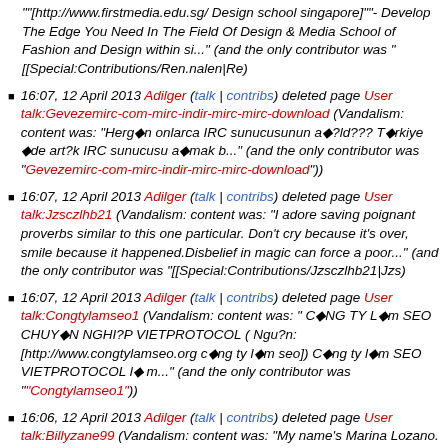""[http://www.firstmedia.edu.sg/ Design school singapore]""- Develop The Edge You Need In The Field Of Design & Media School of Fashion and Design within si..." (and the only contributor was "[[Special:Contributions/Ren.nalen|Re)
16:07, 12 April 2013 Adilger (talk | contribs) deleted page User talk:Gevezemirc-com-mirc-indir-mirc-mirc-download (Vandalism: content was: "Hergün onlarca IRC sunucusunun açıldı??? Türkiye'de artık IRC sunucusu açmak b..." (and the only contributor was "Gevezemirc-com-mirc-indir-mirc-mirc-download"))
16:07, 12 April 2013 Adilger (talk | contribs) deleted page User talk:Jzsczlhb21 (Vandalism: content was: "I adore saving poignant proverbs similar to this one particular. Don't cry because it's over, smile because it happened.Disbelief in magic can force a poor..." (and the only contributor was "[[Special:Contributions/Jzsczlhb21|Jzs)
16:07, 12 April 2013 Adilger (talk | contribs) deleted page User talk:Congtylamseo1 (Vandalism: content was: " CÔNG TY Làm SEO CHUYÊN NGHIỆP VIETPROTOCOL ( Nguồn: [http://www.congtylamseo.org công ty làm seo]) Công ty làm SEO VIETPROTOCOL Là m..." (and the only contributor was "Congtylamseo1"))
16:06, 12 April 2013 Adilger (talk | contribs) deleted page User talk:Billyzane99 (Vandalism: content was: "My name's Marina Lozano. I haven't edited a wiki before, so this is my first! I've been out of work for